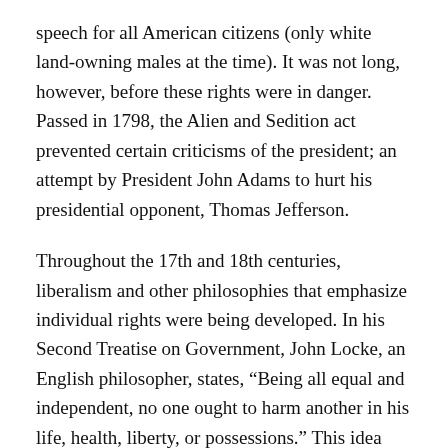speech for all American citizens (only white land-owning males at the time). It was not long, however, before these rights were in danger. Passed in 1798, the Alien and Sedition act prevented certain criticisms of the president; an attempt by President John Adams to hurt his presidential opponent, Thomas Jefferson.
Throughout the 17th and 18th centuries, liberalism and other philosophies that emphasize individual rights were being developed. In his Second Treatise on Government, John Locke, an English philosopher, states, “Being all equal and independent, no one ought to harm another in his life, health, liberty, or possessions.” This idea appears, almost word for word, in the American Constitution. The influence of European philosophy on the Founding Fathers is noteworthy, seeing as